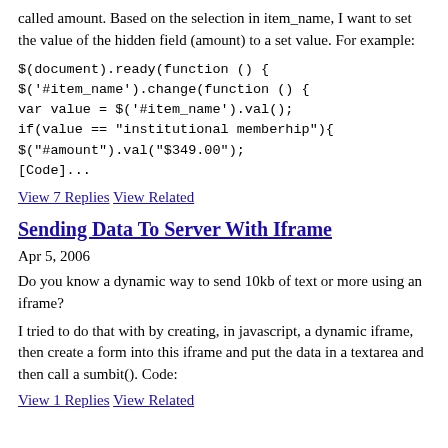called amount. Based on the selection in item_name, I want to set the value of the hidden field (amount) to a set value. For example:
$(document).ready(function () {
$('#item_name').change(function () {
var value = $('#item_name').val();
if(value == "institutional memberhip"){
$("#amount").val("$349.00");
[Code]...
View 7 Replies   View Related
Sending Data To Server With Iframe
Apr 5, 2006
Do you know a dynamic way to send 10kb of text or more using an iframe?
I tried to do that with by creating, in javascript, a dynamic iframe, then create a form into this iframe and put the data in a textarea and
then call a sumbit(). Code:
View 1 Replies   View Related